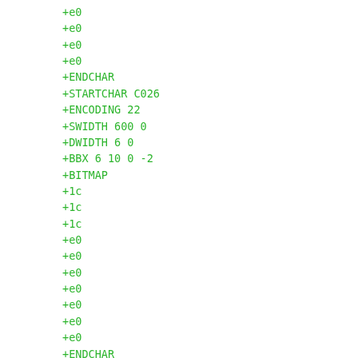+e0
+e0
+e0
+e0
+ENDCHAR
+STARTCHAR C026
+ENCODING 22
+SWIDTH 600 0
+DWIDTH 6 0
+BBX 6 10 0 -2
+BITMAP
+1c
+1c
+1c
+e0
+e0
+e0
+e0
+e0
+e0
+e0
+ENDCHAR
+STARTCHAR C027
+ENCODING 23
+SWIDTH 600 0
+DWIDTH 6 0
+BBX 6 10 0 -2
+BITMAP
+fc
+fc